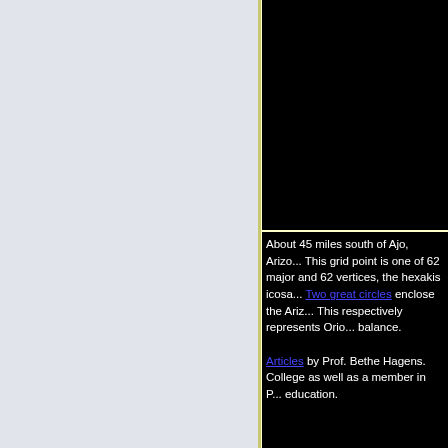[Figure (photo): Black image area at top right of page]
About 45 miles south of Ajo, Arizo... This grid point is one of 62 major and 62 vertices, the hexakis icosa... Two great circles enclose the Ariz... This respectively represents Orio... balance.

Articles by Prof. Bethe Hagens. College as well as a member in P... education.
[Figure (photo): Black image area at bottom right of page]